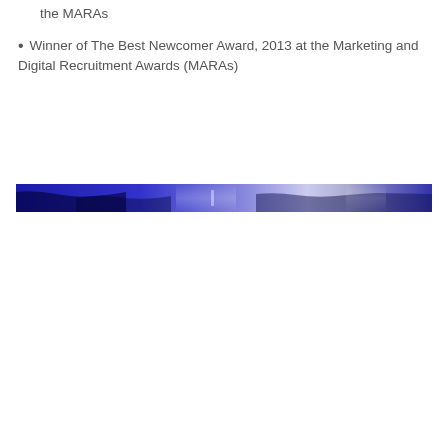the MARAs
Winner of The Best Newcomer Award, 2013 at the Marketing and Digital Recruitment Awards (MARAs)
[Figure (photo): A horizontal banner image with a blue and purple gradient background, featuring abstract dark silhouette shapes and light reflections, fading from dark blue on the left to lighter blue-white tones in the center and right.]